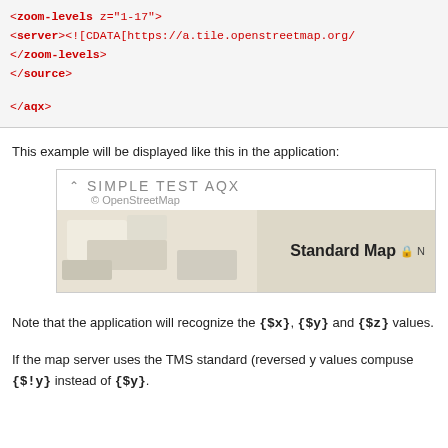<zoom-levels z="1-17">
    <server><![CDATA[https://a.tile.openstreetmap.org/
</zoom-levels>
</source>

</aqx>
This example will be displayed like this in the application:
[Figure (screenshot): Screenshot of application showing SIMPLE TEST AQX with OpenStreetMap credit and a Standard Map tile preview]
Note that the application will recognize the {$x}, {$y} and {$z} values.
If the map server uses the TMS standard (reversed y values comp... use {$!y} instead of {$y}.